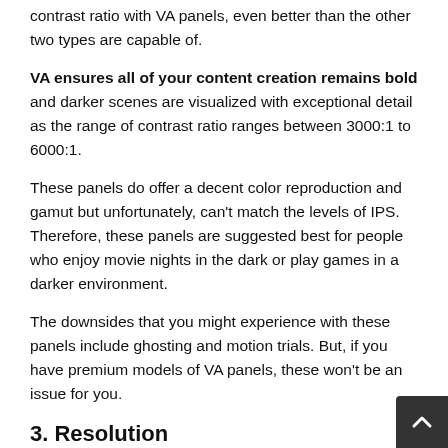contrast ratio with VA panels, even better than the other two types are capable of.
VA ensures all of your content creation remains bold and darker scenes are visualized with exceptional detail as the range of contrast ratio ranges between 3000:1 to 6000:1.
These panels do offer a decent color reproduction and gamut but unfortunately, can't match the levels of IPS. Therefore, these panels are suggested best for people who enjoy movie nights in the dark or play games in a darker environment.
The downsides that you might experience with these panels include ghosting and motion trials. But, if you have premium models of VA panels, these won't be an issue for you.
3. Resolution
You would be delighted to know that you can get the best display with MacBook Pro with an ultrawide screen monitor. Though, most people would settle happily for a display with 1920×1080 display. It is also known as standard Full Hi…